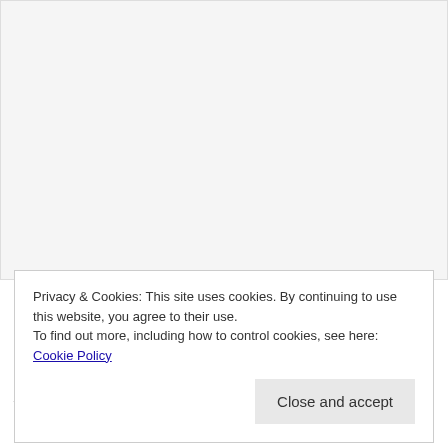[Figure (other): White/light gray empty content area at the top of the page (advertisement or image placeholder)]
Privacy & Cookies: This site uses cookies. By continuing to use this website, you agree to their use.
To find out more, including how to control cookies, see here: Cookie Policy
Close and accept
Software vendor even claims that this app features a kissing engine.
Are you a great kisser? Get iFrenchKiss and found out! This app scores